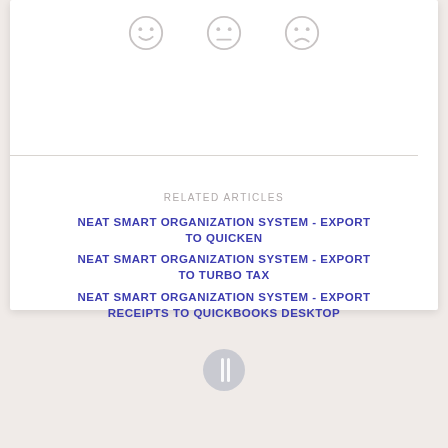[Figure (illustration): Three emoji face icons: happy, neutral, sad — arranged in a row]
RELATED ARTICLES
NEAT SMART ORGANIZATION SYSTEM - EXPORT TO QUICKEN
NEAT SMART ORGANIZATION SYSTEM - EXPORT TO TURBO TAX
NEAT SMART ORGANIZATION SYSTEM - EXPORT RECEIPTS TO QUICKBOOKS DESKTOP
[Figure (logo): Circular logo icon at bottom of page]